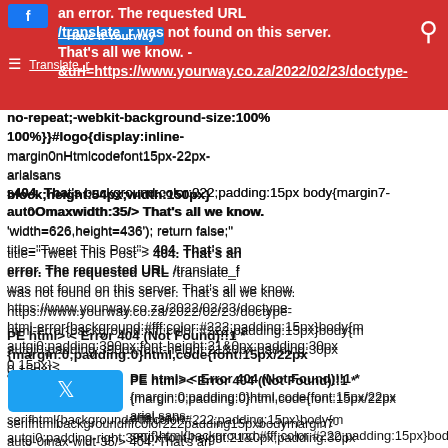an error. The requested URL /translate_f was not found on this server. That's all we know. -
&url=https://www.yourway.co.za/2022/02/23/doctype-html-error-404-not-found1-100%}}#logo{display:inline-block;height:54px;width:150px}
no-repeat;-webkit-background-size:100% 100%}}#logo{display:inline-marginOnHtmlcodefont15px-22px-arialsans block;height:54px;width:150px}
404. That's background:color:222;padding:15px body{margin7-autoOmaxwidth35/>
404. That's an error. The requested URL /translate_f was not found on this server. That's all we know.
'width=626,height=436'); return false;"
title="Tweet This Post"> 404. That's an error. The requested URL /translate_f was not found on this server. That's all we know.
PE html>< Error 404 (Not Found)!!1 *
{margin:0;padding:0}html,code{font:15px/22px arial,sans-
serif}html{background:#fff;color:#222;padding:15px}body{margin0;padding-right:
autgi0:padding:390px;font-height:21&0px;padding:30px
0 15px}
serifhtmlbackgroundfffcolor222padding15pxbodymargin7-auto-0max-widt-35/> 404. That's an error. The requested URL /translate_f was not found on this server. That's all we know.
background:url(//www.google.com/images/errors/robo0x no-repeat;padding-right:205px}p{margin:11px 0 22px;overflow:hidden}ins{color:#777;text-decoration:none}a img{border:0}@media screen and
pinterestShare, 'width=550,height=550');
idt:772px){body{background:none;0margin-top:;max-width:none;padding-right:0}#logo{background:url(//www.google.com/images/br-no-repeat;margin-left:-5px}@media only screen and (min-resolution:192dpi)
'404. That's an error. The requested URL /translate_f was not found on this server. That's all we know. & BODY=I found this article interesting and thought of sharing it with you. Check it out.'